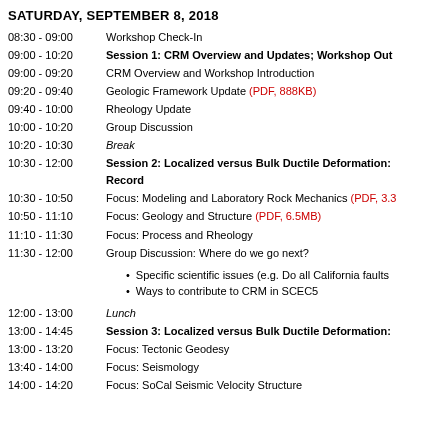SATURDAY, SEPTEMBER 8, 2018
08:30 - 09:00   Workshop Check-In
09:00 - 10:20   Session 1: CRM Overview and Updates; Workshop Out
09:00 - 09:20   CRM Overview and Workshop Introduction
09:20 - 09:40   Geologic Framework Update (PDF, 888KB)
09:40 - 10:00   Rheology Update
10:00 - 10:20   Group Discussion
10:20 - 10:30   Break
10:30 - 12:00   Session 2: Localized versus Bulk Ductile Deformation: Record
10:30 - 10:50   Focus: Modeling and Laboratory Rock Mechanics (PDF, 3.3...)
10:50 - 11:10   Focus: Geology and Structure (PDF, 6.5MB)
11:10 - 11:30   Focus: Process and Rheology
11:30 - 12:00   Group Discussion: Where do we go next?
Specific scientific issues (e.g. Do all California faults
Ways to contribute to CRM in SCEC5
12:00 - 13:00   Lunch
13:00 - 14:45   Session 3: Localized versus Bulk Ductile Deformation:
13:00 - 13:20   Focus: Tectonic Geodesy
13:40 - 14:00   Focus: Seismology
14:00 - 14:20   Focus: SoCal Seismic Velocity Structure